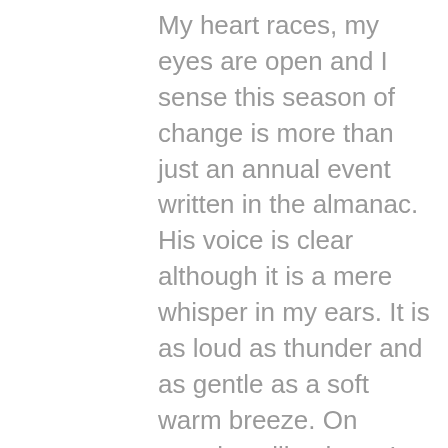My heart races, my eyes are open and I sense this season of change is more than just an annual event written in the almanac.  His voice is clear although it is a mere whisper in my ears.  It is as loud as thunder and as gentle as a soft warm breeze.  On mornings like these I wonder how I arrive at my destination. I am completely captivated by His voice and He has all of my attention.
He shows me the beauty in the colors of the leaves and I realize that although lovely to behold these changes signify the death of the leaf.  Soon they will dry, wither and fall from the branch and...